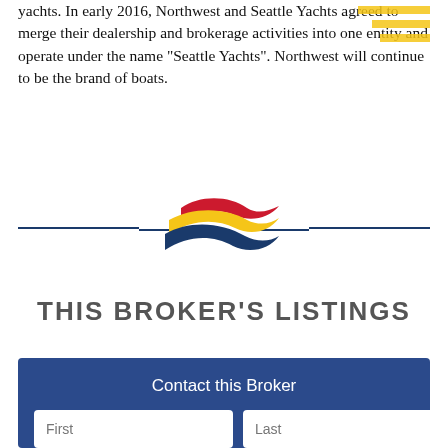yachts. In early 2016, Northwest and Seattle Yachts agreed to merge their dealership and brokerage activities into one entity and operate under the name “Seattle Yachts”. Northwest will continue to be the brand of boats.
[Figure (logo): Seattle Yachts logo: three wave shapes in red, gold/yellow, and dark blue, with horizontal navy divider lines on left and right]
THIS BROKER'S LISTINGS
Contact this Broker
First  Last